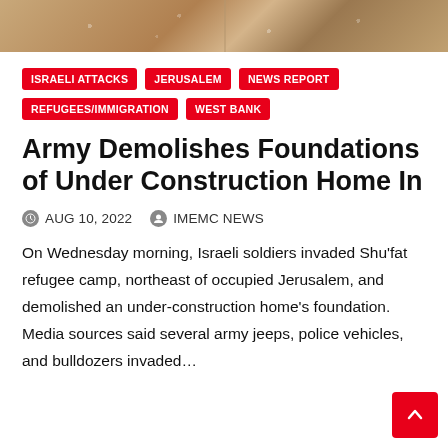[Figure (photo): Top portion of an article page showing a partial photograph with brownish/golden tones, split into two panels with a divider line.]
ISRAELI ATTACKS
JERUSALEM
NEWS REPORT
REFUGEES/IMMIGRATION
WEST BANK
Army Demolishes Foundations of Under Construction Home In
AUG 10, 2022   IMEMC NEWS
On Wednesday morning, Israeli soldiers invaded Shu'fat refugee camp, northeast of occupied Jerusalem, and demolished an under-construction home's foundation. Media sources said several army jeeps, police vehicles, and bulldozers invaded…